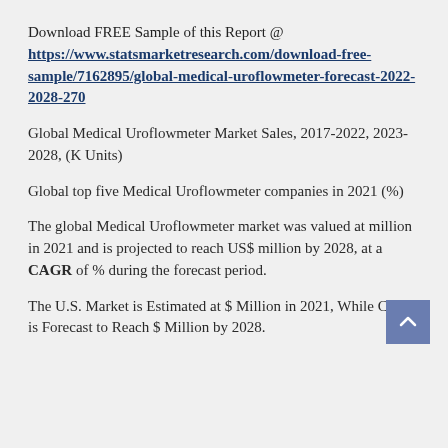Download FREE Sample of this Report @ https://www.statsmarketresearch.com/download-free-sample/7162895/global-medical-uroflowmeter-forecast-2022-2028-270
Global Medical Uroflowmeter Market Sales, 2017-2022, 2023-2028, (K Units)
Global top five Medical Uroflowmeter companies in 2021 (%)
The global Medical Uroflowmeter market was valued at million in 2021 and is projected to reach US$ million by 2028, at a CAGR of % during the forecast period.
The U.S. Market is Estimated at $ Million in 2021, While China is Forecast to Reach $ Million by 2028.